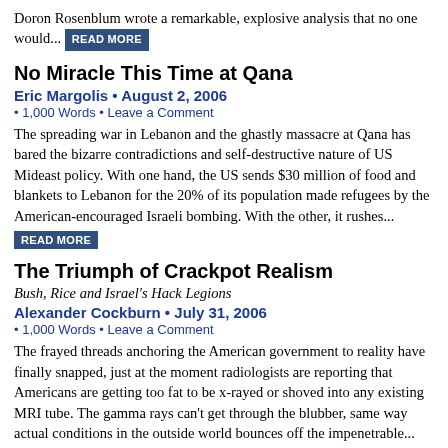Doron Rosenblum wrote a remarkable, explosive analysis that no one would... READ MORE
No Miracle This Time at Qana
Eric Margolis • August 2, 2006
• 1,000 Words • Leave a Comment
The spreading war in Lebanon and the ghastly massacre at Qana has bared the bizarre contradictions and self-destructive nature of US Mideast policy. With one hand, the US sends $30 million of food and blankets to Lebanon for the 20% of its population made refugees by the American-encouraged Israeli bombing. With the other, it rushes...
READ MORE
The Triumph of Crackpot Realism
Bush, Rice and Israel's Hack Legions
Alexander Cockburn • July 31, 2006
• 1,000 Words • Leave a Comment
The frayed threads anchoring the American government to reality have finally snapped, just at the moment radiologists are reporting that Americans are getting too fat to be x-rayed or shoved into any existing MRI tube. The gamma rays can't get through the blubber, same way actual conditions in the outside world bounces off the impenetrable...
READ MORE